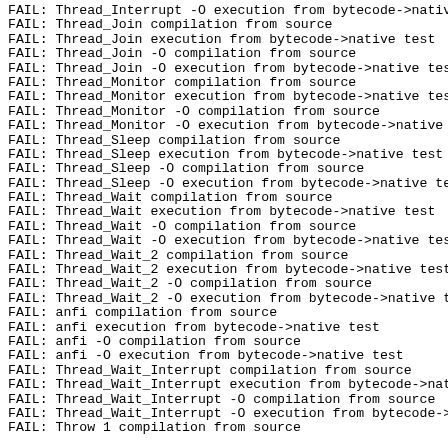FAIL: Thread_Interrupt -O execution from bytecode->native
FAIL: Thread_Join compilation from source
FAIL: Thread_Join execution from bytecode->native test
FAIL: Thread_Join -O compilation from source
FAIL: Thread_Join -O execution from bytecode->native test
FAIL: Thread_Monitor compilation from source
FAIL: Thread_Monitor execution from bytecode->native test
FAIL: Thread_Monitor -O compilation from source
FAIL: Thread_Monitor -O execution from bytecode->native t
FAIL: Thread_Sleep compilation from source
FAIL: Thread_Sleep execution from bytecode->native test
FAIL: Thread_Sleep -O compilation from source
FAIL: Thread_Sleep -O execution from bytecode->native tes
FAIL: Thread_Wait compilation from source
FAIL: Thread_Wait execution from bytecode->native test
FAIL: Thread_Wait -O compilation from source
FAIL: Thread_Wait -O execution from bytecode->native test
FAIL: Thread_Wait_2 compilation from source
FAIL: Thread_Wait_2 execution from bytecode->native test
FAIL: Thread_Wait_2 -O compilation from source
FAIL: Thread_Wait_2 -O execution from bytecode->native te
FAIL: anfi compilation from source
FAIL: anfi execution from bytecode->native test
FAIL: anfi -O compilation from source
FAIL: anfi -O execution from bytecode->native test
FAIL: Thread_Wait_Interrupt compilation from source
FAIL: Thread_Wait_Interrupt execution from bytecode->nat
FAIL: Thread_Wait_Interrupt -O compilation from source
FAIL: Thread_Wait_Interrupt -O execution from bytecode->n
FAIL: Throw 1 compilation from source